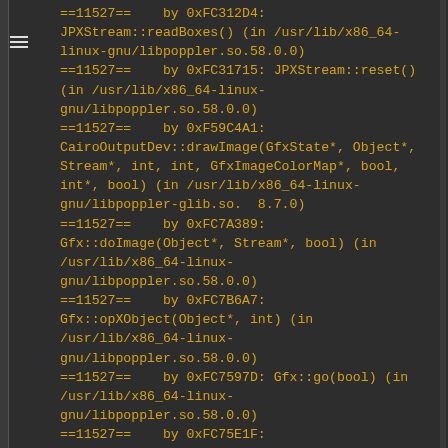==11527==    by 0xFC312D4: JPXStream::readBoxes() (in /usr/lib/x86_64-linux-gnu/libpoppler.so.58.0.0)
==11527==    by 0xFC31715: JPXStream::reset() (in /usr/lib/x86_64-linux-gnu/libpoppler.so.58.0.0)
==11527==    by 0xF59C4A1: CairoOutputDev::drawImage(GfxState*, Object*, Stream*, int, int, GfxImageColorMap*, bool, int*, bool) (in /usr/lib/x86_64-linux-gnu/libpoppler-glib.so.  8.7.0)
==11527==    by 0xFC7A389: Gfx::doImage(Object*, Stream*, bool) (in /usr/lib/x86_64-linux-gnu/libpoppler.so.58.0.0)
==11527==    by 0xFC7B6A7: Gfx::opXObject(Object*, int) (in /usr/lib/x86_64-linux-gnu/libpoppler.so.58.0.0)
==11527==    by 0xFC7597D: Gfx::go(bool) (in /usr/lib/x86_64-linux-gnu/libpoppler.so.58.0.0)
==11527==    by 0xFC75E1F: Gfx::display(Object*, bool) (in /usr/lib/x86_64-linux-gnu/libpoppler.so.58.0.0)
==11527==    by 0xFCBBF44: